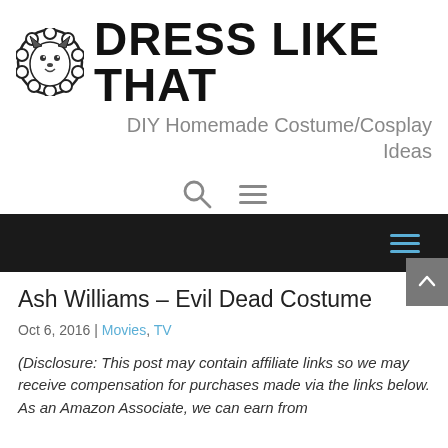DRESS LIKE THAT – DIY Homemade Costume/Cosplay Ideas
Ash Williams – Evil Dead Costume
Oct 6, 2016 | Movies, TV
(Disclosure: This post may contain affiliate links so we may receive compensation for purchases made via the links below. As an Amazon Associate, we can earn from